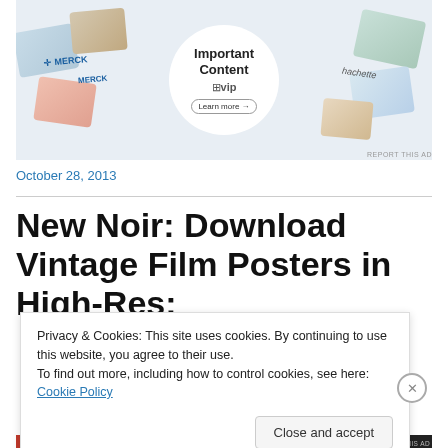[Figure (other): WordPress VIP advertisement banner showing cards with Merck, Hachette and other brand logos, with a circular overlay showing 'Important Content' and WordPress VIP logo with a 'Learn more' button]
REPORT THIS AD
October 28, 2013
New Noir: Download Vintage Film Posters in High-Res:
Privacy & Cookies: This site uses cookies. By continuing to use this website, you agree to their use.
To find out more, including how to control cookies, see here: Cookie Policy
Close and accept